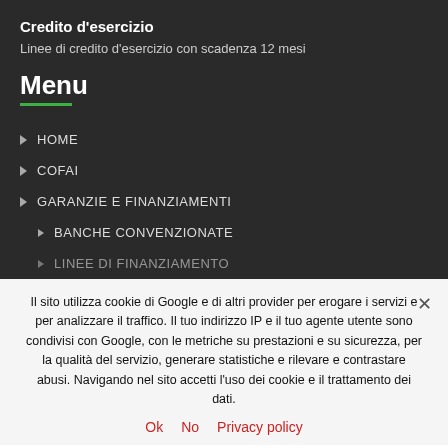Credito d'esercizio
Linee di credito d'esercizio con scadenza 12 mesi
Menu
HOME
COFAI
GARANZIE E FINANZIAMENTI
BANCHE CONVENZIONATE
LINEE DI FINANZIAMENTO
Il sito utilizza cookie di Google e di altri provider per erogare i servizi e per analizzare il traffico. Il tuo indirizzo IP e il tuo agente utente sono condivisi con Google, con le metriche su prestazioni e su sicurezza, per la qualità del servizio, generare statistiche e rilevare e contrastare abusi. Navigando nel sito accetti l'uso dei cookie e il trattamento dei dati.
Ok   No   Privacy policy